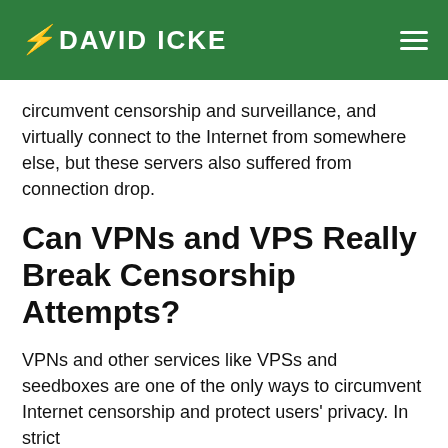DAVID ICKE
circumvent censorship and surveillance, and virtually connect to the Internet from somewhere else, but these servers also suffered from connection drop.
Can VPNs and VPS Really Break Censorship Attempts?
VPNs and other services like VPSs and seedboxes are one of the only ways to circumvent Internet censorship and protect users' privacy. In strict